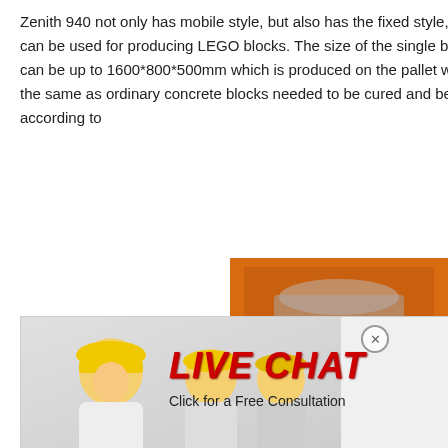Zenith 940 not only has mobile style, but also has the fixed style, which can be used for producing LEGO blocks. The size of the single block can be up to 1600*800*500mm which is produced on the pallet which is the same as ordinary concrete blocks needed to be cured and be made according to
[Figure (photo): Live chat popup with construction workers wearing yellow hard hats, LIVE CHAT heading in red italic, 'Click for a Free Consultation' subtext, Chat now (red button) and Chat later (dark button) at bottom]
[Figure (photo): Orange sidebar with machinery images (crushers/equipment), yellow 'Enjoy 3% discount' bar, orange 'Click to Chat' bar, Enquiry section, and email limingjlmofen@sina.com]
<< Previous:Raymond Dapat Mencapai Banya Yang
>> Next:Repair Cement Driveway Cracks